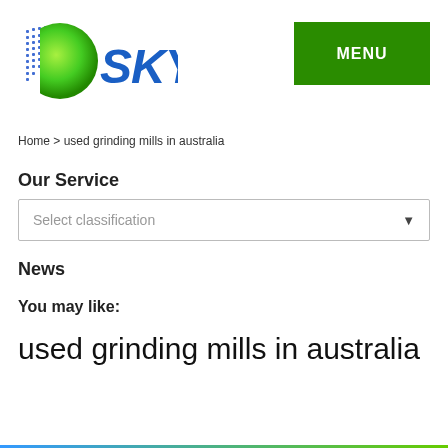[Figure (logo): SKY company logo with globe icon and blue cursive SKY text]
[Figure (other): Green MENU button in top right corner]
Home > used grinding mills in australia
Our Service
Select classification
News
You may like:
used grinding mills in australia